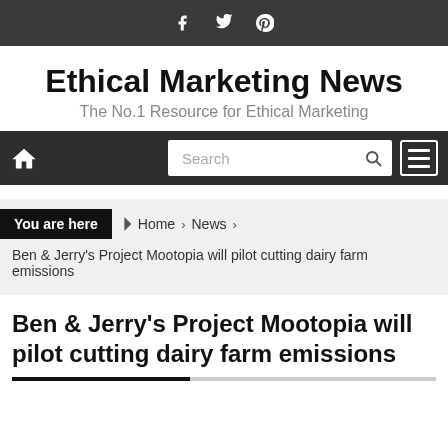f  twitter  pinterest (social icons)
Ethical Marketing News
The No.1 Resource for Ethical Marketing
[Figure (screenshot): Navigation bar with home icon, search box, and hamburger menu on dark background]
You are here  Home  News  Ben & Jerry's Project Mootopia will pilot cutting dairy farm emissions
Ben & Jerry's Project Mootopia will pilot cutting dairy farm emissions